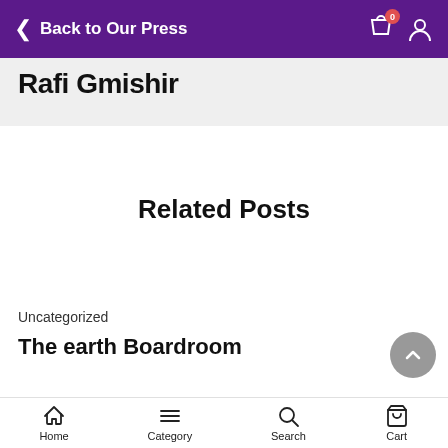Back to Our Press
Rafi Gmishir
Related Posts
Uncategorized
The earth Boardroom
Home  Category  Search  Cart